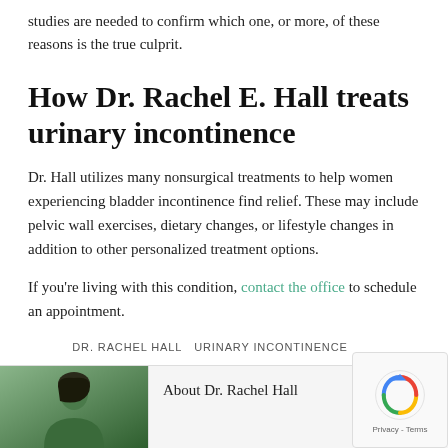studies are needed to confirm which one, or more, of these reasons is the true culprit.
How Dr. Rachel E. Hall treats urinary incontinence
Dr. Hall utilizes many nonsurgical treatments to help women experiencing bladder incontinence find relief. These may include pelvic wall exercises, dietary changes, or lifestyle changes in addition to other personalized treatment options.
If you're living with this condition, contact the office to schedule an appointment.
DR. RACHEL HALL  URINARY INCONTINENCE
About Dr. Rachel Hall